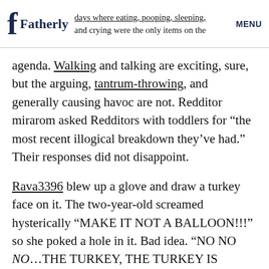days where eating, pooping, sleeping, and crying were the only items on the agenda. [Fatherly logo] MENU
agenda. Walking and talking are exciting, sure, but the arguing, tantrum-throwing, and generally causing havoc are not. Redditor mirarom asked Redditors with toddlers for “the most recent illogical breakdown they’ve had.” Their responses did not disappoint.
Rava3396 blew up a glove and draw a turkey face on it. The two-year-old screamed hysterically “MAKE IT NOT A BALLOON!!!” so she poked a hole in it. Bad idea. “NO NO NO…THE TURKEY, THE TURKEY IS DEAD! NOOOO!” and rage screams went on for 40 minutes.